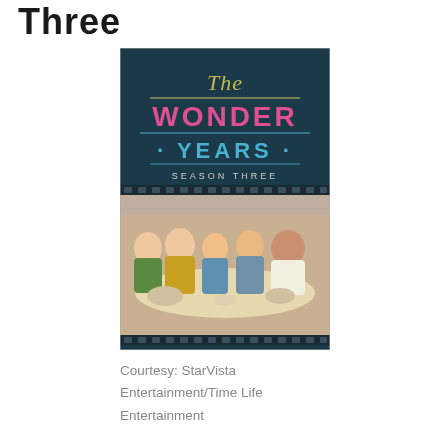Three
[Figure (photo): DVD cover art for 'The Wonder Years: Season Three' showing the show title in colorful text on a dark teal background with film strip borders, and a family photo of five people seated around a dining table below.]
Courtesy: StarVista Entertainment/Time Life Entertainment